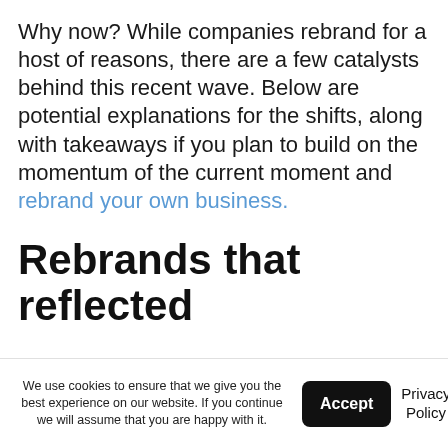Why now? While companies rebrand for a host of reasons, there are a few catalysts behind this recent wave. Below are potential explanations for the shifts, along with takeaways if you plan to build on the momentum of the current moment and rebrand your own business.
Rebrands that reflected
We use cookies to ensure that we give you the best experience on our website. If you continue we will assume that you are happy with it.